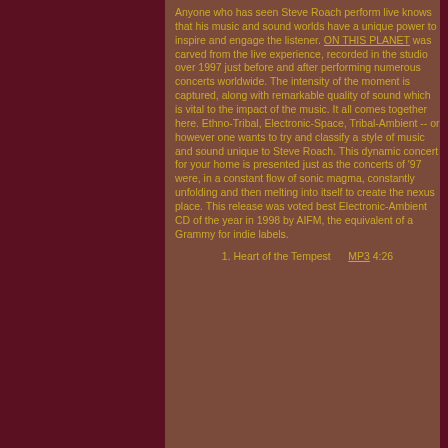Anyone who has seen Steve Roach perform live knows that his music and sound worlds have a unique power to inspire and engage the listener. ON THIS PLANET was carved from the live experience, recorded in the studio over 1997 just before and after performing numerous concerts worldwide. The intensity of the moment is captured, along with remarkable quality of sound which is vital to the impact of the music. It all comes together here. Ethno-Tribal, Electronic-Space, Tribal-Ambient -- or however one wants to try and classify a style of music and sound unique to Steve Roach. This dynamic concert for your home is presented just as the concerts of '97 were, in a constant flow of sonic magma, constantly unfolding and then melting into itself to create the nexus place. This release was voted best Electronic-Ambient CD of the year in 1998 by AIFM, the equivalent of a Grammy for indie labels.
1. Heart of the Tempest   MP3 4:26